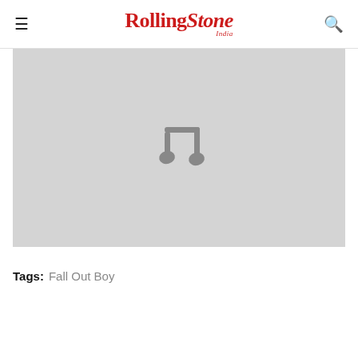Rolling Stone India
[Figure (illustration): Gray placeholder image with a music note icon in the center]
Tags: Fall Out Boy